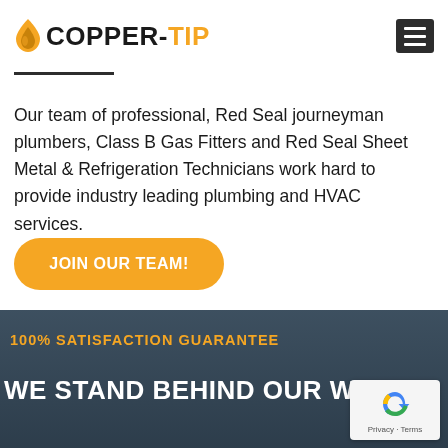COPPER-TIP
Our team of professional, Red Seal journeyman plumbers, Class B Gas Fitters and Red Seal Sheet Metal & Refrigeration Technicians work hard to provide industry leading plumbing and HVAC services.
JOIN OUR TEAM!
100% SATISFACTION GUARANTEE
WE STAND BEHIND OUR WORK